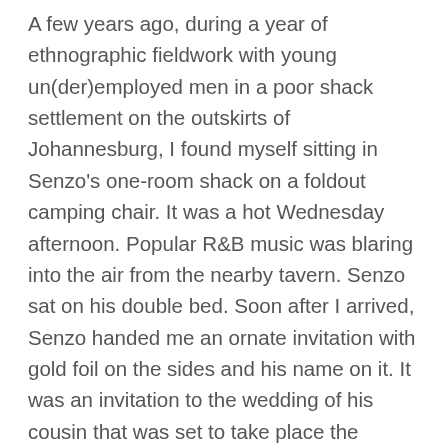A few years ago, during a year of ethnographic fieldwork with young un(der)employed men in a poor shack settlement on the outskirts of Johannesburg, I found myself sitting in Senzo's one-room shack on a foldout camping chair. It was a hot Wednesday afternoon. Popular R&B music was blaring into the air from the nearby tavern. Senzo sat on his double bed. Soon after I arrived, Senzo handed me an ornate invitation with gold foil on the sides and his name on it. It was an invitation to the wedding of his cousin that was set to take place the following weekend. I asked Senzo if he planned to go. “I’m not going”, he told me, explaining that he had declined the invitation because, as he put it, “I don’t want to put more pressure on myself” describing the difficulties he already had paying rent, keeping up with outstanding debts, and supporting his girlfriend and children. Going to the wedding would require